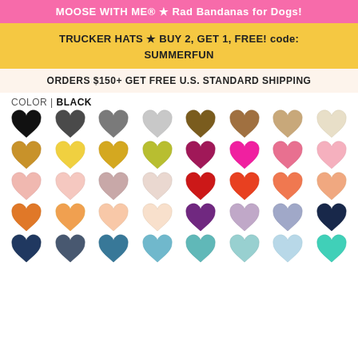MOOSE WITH ME® ★ Rad Bandanas for Dogs!
TRUCKER HATS ★ BUY 2, GET 1, FREE! code: SUMMERFUN
ORDERS $150+ GET FREE U.S. STANDARD SHIPPING
COLOR | BLACK
[Figure (illustration): A grid of 40 heart shapes in various colors representing color swatches for dog bandanas. Row 1: black, dark gray, medium gray, light gray, dark brown, medium brown, tan, cream. Row 2: dark gold, yellow, gold, yellow-green/olive, dark pink/maroon, magenta/fuchsia, hot pink, light pink. Row 3: blush pink, light blush, mauve/dusty rose, light blush/nude, red, orange-red, coral, peach. Row 4: orange, light orange/peach-orange, light peach, very light peach/cream, purple/plum, lavender/mauve, periwinkle/slate blue, navy. Row 5: dark navy, dark gray-blue, teal-blue, light teal-blue, medium teal, light teal, powder blue, mint/turquoise.]